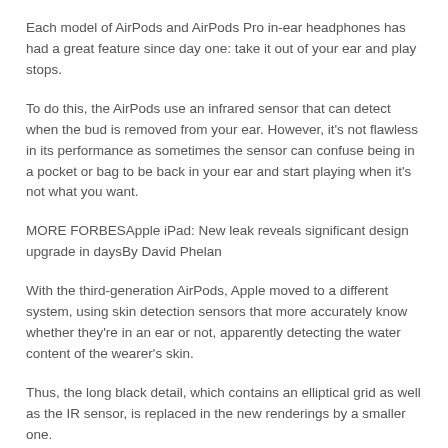Each model of AirPods and AirPods Pro in-ear headphones has had a great feature since day one: take it out of your ear and play stops.
To do this, the AirPods use an infrared sensor that can detect when the bud is removed from your ear. However, it's not flawless in its performance as sometimes the sensor can confuse being in a pocket or bag to be back in your ear and start playing when it's not what you want.
MORE FORBESApple iPad: New leak reveals significant design upgrade in daysBy David Phelan
With the third-generation AirPods, Apple moved to a different system, using skin detection sensors that more accurately know whether they're in an ear or not, apparently detecting the water content of the wearer's skin.
Thus, the long black detail, which contains an elliptical grid as well as the IR sensor, is replaced in the new renderings by a smaller one.